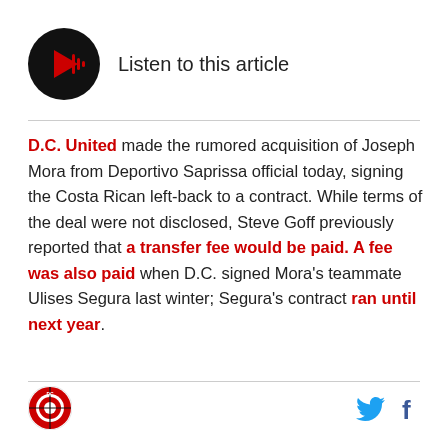[Figure (other): Audio player button: black circle with red play icon and sound wave bars, with text 'Listen to this article']
D.C. United made the rumored acquisition of Joseph Mora from Deportivo Saprissa official today, signing the Costa Rican left-back to a contract. While terms of the deal were not disclosed, Steve Goff previously reported that a transfer fee would be paid. A fee was also paid when D.C. signed Mora's teammate Ulises Segura last winter; Segura's contract ran until next year.
[Figure (logo): DC United circular logo at bottom left]
[Figure (logo): Twitter bird icon and Facebook f icon at bottom right]